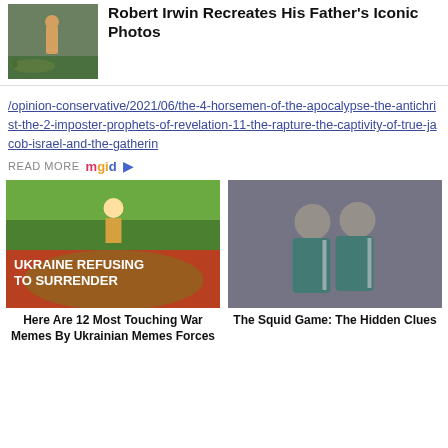[Figure (photo): Photo of person with crocodile/alligator outdoors near crowd]
Robert Irwin Recreates His Father's Iconic Photos
/opinion-conservative/2021/06/the-4-horsemen-of-the-apocalypse-the-antichrist-the-2-imposter-prophets-of-revelation-11-the-rapture-the-captivity-of-true-jacob-israel-and-the-gatherin
READ MORE mgid ▷
[Figure (photo): Ukraine Refusing To Surrender war meme illustration]
Here Are 12 Most Touching War Memes By Ukrainian Memes Forces
[Figure (photo): Two women in teal tracksuits leaning on each other – Squid Game]
The Squid Game: The Hidden Clues